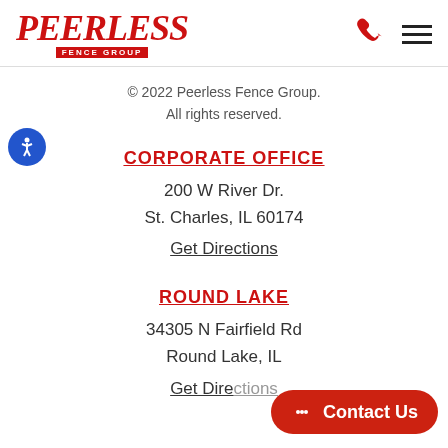PEERLESS FENCE GROUP
© 2022 Peerless Fence Group. All rights reserved.
CORPORATE OFFICE
200 W River Dr.
St. Charles, IL 60174
Get Directions
ROUND LAKE
34305 N Fairfield Rd
Round Lake, IL
Get Directions
Contact Us